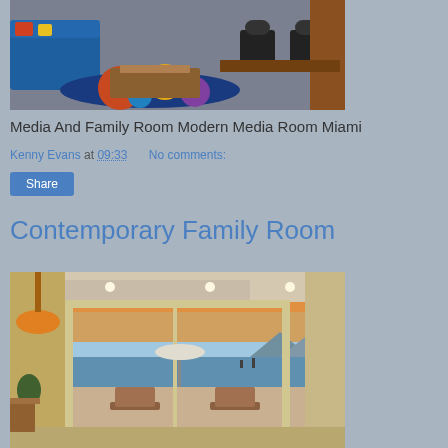[Figure (photo): Modern media room with blue sofa, colorful rug, coffee table, and office chairs]
Media And Family Room Modern Media Room Miami
Kenny Evans at 09:33    No comments:
Share
Contemporary Family Room
[Figure (photo): Contemporary family room with view of ocean sunset through large sliding glass doors, orange pendant lamp, and outdoor furniture]